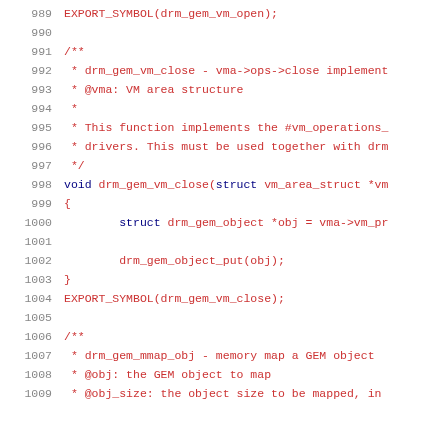Source code listing lines 989-1009 showing drm_gem_vm_close function implementation in C with documentation comments